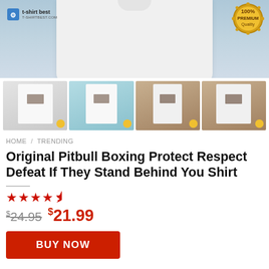[Figure (photo): Hero product photo showing a white t-shirt on a light blue background with t-shirt best logo and 100% Premium Quality gold badge]
[Figure (photo): Four thumbnail product photos showing the shirt on different models and styles: male model white tee, female model white tee, tank top, and long sleeve]
HOME / TRENDING
Original Pitbull Boxing Protect Respect Defeat If They Stand Behind You Shirt
★★★★½
$24.95  $21.99
BUY NOW